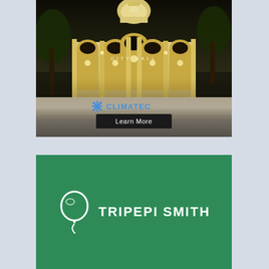[Figure (photo): Night photograph of Pasadena City Hall with illuminated arches, dome, staircase and palm trees. A Climatec advertisement overlay appears at the bottom of the image with text 'CLIMATEC' and a 'Learn More' button.]
[Figure (logo): Tripepi Smith company logo on a green background. Features a white balloon icon on the left and white bold uppercase text 'TRIPEPI SMITH' on the right.]